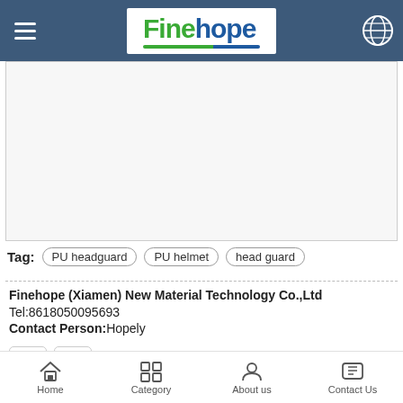Finehope (navigation header with logo, hamburger menu, globe icon)
[Figure (photo): Product image area (white/light gray placeholder area for PU headguard photo)]
Tag: PU headguard  PU helmet  head guard
Finehope (Xiamen) New Material Technology Co.,Ltd
Tel:8618050095693
Contact Person:Hopely
[Figure (photo): Phone/call icon button and email/envelope icon button for contact actions]
[Figure (photo): Circular avatar photo showing a person, partially cropped at bottom]
Home  Category  About us  Contact Us